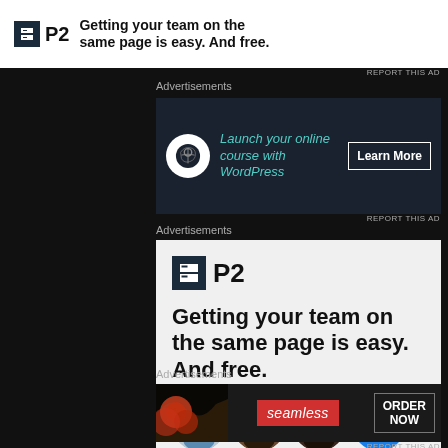[Figure (screenshot): P2 advertisement banner - top strip: P2 logo and tagline 'Getting your team on the same page is easy. And free.']
REPORT THIS AD
Advertisements
[Figure (screenshot): WordPress advertisement: 'Launch your online course with WordPress' with Learn More button on dark background]
REPORT THIS AD
Advertisements
[Figure (screenshot): Large P2 advertisement with logo, tagline 'Getting your team on the same page is easy. And free.' and team avatar photos with blue plus button]
Advertisements
[Figure (screenshot): Seamless food delivery advertisement with pizza image, Seamless logo, and ORDER NOW button]
REPORT THIS AD